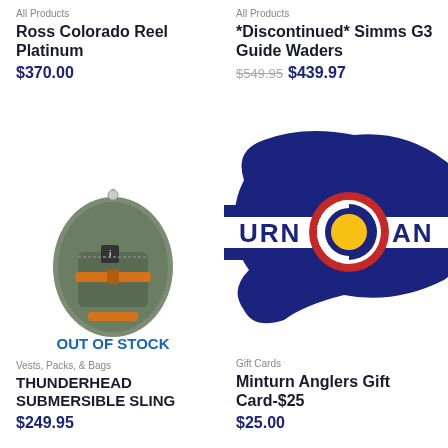Ross Colorado Reel Platinum
$370.00
All Products
*Discontinued* Simms G3 Guide Waders
$549.95 $439.97
[Figure (photo): Thunderhead Submersible Sling bag in olive/gray color, shown standing upright with orange buckle straps]
OUT OF STOCK
Vests, Packs, & Bags
THUNDERHEAD SUBMERSIBLE SLING
$249.95
[Figure (logo): Minturn Anglers logo: Colorado state fish shape in navy blue with Colorado C logo (red, white, blue) overlaid, text URN and AN visible on white stripe]
Gift Cards
Minturn Anglers Gift Card-$25
$25.00